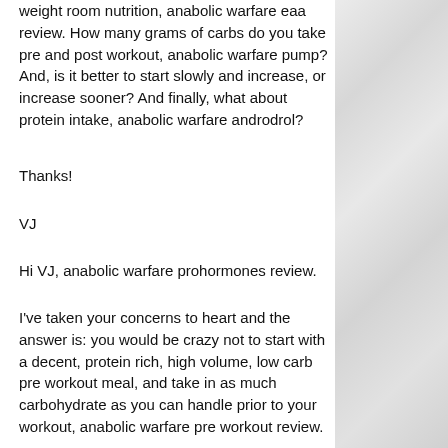weight room nutrition, anabolic warfare eaa review. How many grams of carbs do you take pre and post workout, anabolic warfare pump? And, is it better to start slowly and increase, or increase sooner? And finally, what about protein intake, anabolic warfare androdrol?
Thanks!
VJ
Hi VJ, anabolic warfare prohormones review.
I've taken your concerns to heart and the answer is: you would be crazy not to start with a decent, protein rich, high volume, low carb pre workout meal, and take in as much carbohydrate as you can handle prior to your workout, anabolic warfare pre workout review.